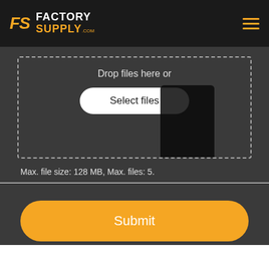[Figure (logo): Factory Supply .com logo with orange FS monogram and white/orange text on dark header bar]
[Figure (screenshot): File upload drop zone with dashed border, 'Drop files here or' text, and 'Select files' button on dark background]
Drop files here or
Select files
Max. file size: 128 MB, Max. files: 5.
Submit